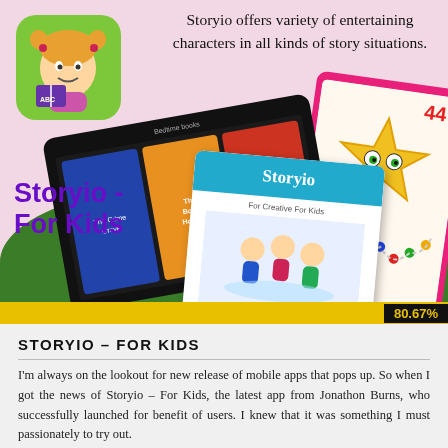[Figure (illustration): App promotional banner for Storyio For Kids showing app icon of a cartoon girl reading, tablet devices with colorful book covers, and a game app screenshot, on a pink and green background]
Storyio –
For Kids
Storyio offers variety of entertaining characters in all kinds of story situations.
80.67%
STORYIO – FOR KIDS
I'm always on the lookout for new release of mobile apps that pops up. So when I got the news of Storyio – For Kids, the latest app from Jonathon Burns, who successfully launched for benefit of users. I knew that it was something I must passionately to try out.